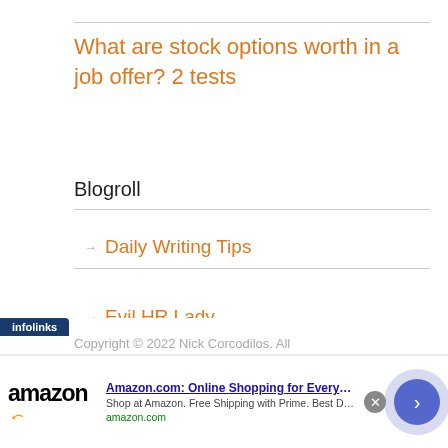What are stock options worth in a job offer? 2 tests
Blogroll
Daily Writing Tips
Evil HR Lady
Mark Carey's Law Blog
Copyright © 2022 Nick Corcodilos. All
[Figure (other): Amazon advertisement banner: Amazon.com: Online Shopping for Everyone. Shop at Amazon. Free Shipping with Prime. Best Deals Ever! amazon.com]